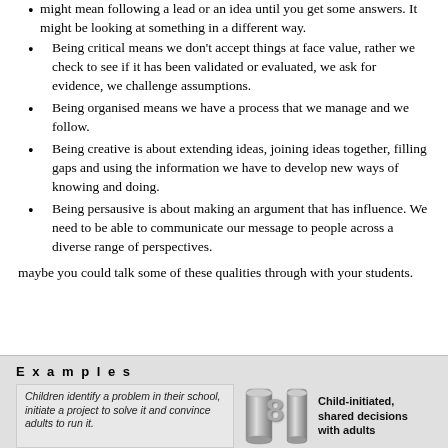might mean following a lead or an idea until you get some answers. It might be looking at something in a different way.
Being critical means we don't accept things at face value, rather we check to see if it has been validated or evaluated, we ask for evidence, we challenge assumptions.
Being organised means we have a process that we manage and we follow.
Being creative is about extending ideas, joining ideas together, filling gaps and using the information we have to develop new ways of knowing and doing.
Being persausive is about making an argument that has influence. We need to be able to communicate our message to people across a diverse range of perspectives.
maybe you could talk some of these qualities through with your students.
[Figure (infographic): Examples box showing a card with text 'Children identify a problem in their school, initiate a project to solve it and convince adults to run it.' alongside the number 8 flanked by metallic cylinder decorations, and a label 'Child-initiated, shared decisions with adults', with a rounded rectangle graphic on the right.]